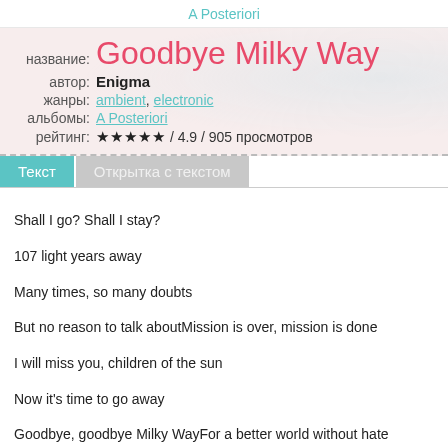A Posteriori
Goodbye Milky Way
название: Goodbye Milky Way
автор: Enigma
жанры: ambient, electronic
альбомы: A Posteriori
рейтинг: ★★★★★ / 4.9 / 905 просмотров
Текст | Открытка с текстом
Shall I go? Shall I stay?
107 light years away
Many times, so many doubts
But no reason to talk aboutMission is over, mission is done
I will miss you, children of the sun
Now it's time to go away
Goodbye, goodbye Milky WayFor a better world without hate
Follow your heart, believe in fate
Only visions and the mind
Will guide you to the lightMission is over, mission is done
I'll miss you, children of the sun
Now it's time to go and say
Goodbye, goodbye Milky WayMission is over, mission is done
I will miss you, children of the sun
I go home, until someday
I say goodbye, goodbye Milky Way5 billion years, the Andromeda galaxy
Will collide with our Milky Way